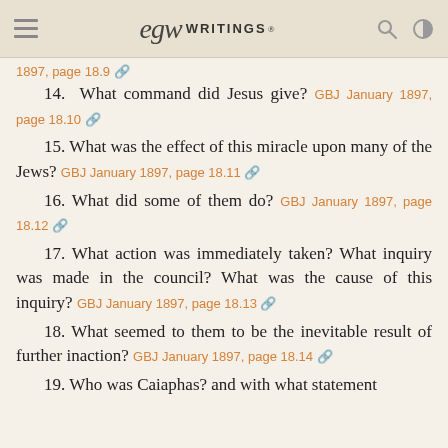EGW WRITINGS®
1897, page 18.9 🔗
14. What command did Jesus give? GBJ January 1897, page 18.10 🔗
15. What was the effect of this miracle upon many of the Jews? GBJ January 1897, page 18.11 🔗
16. What did some of them do? GBJ January 1897, page 18.12 🔗
17. What action was immediately taken? What inquiry was made in the council? What was the cause of this inquiry? GBJ January 1897, page 18.13 🔗
18. What seemed to them to be the inevitable result of further inaction? GBJ January 1897, page 18.14 🔗
19. Who was Caiaphas? and with what statement